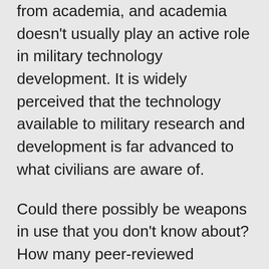from academia, and academia doesn't usually play an active role in military technology development. It is widely perceived that the technology available to military research and development is far advanced to what civilians are aware of.
Could there possibly be weapons in use that you don't know about? How many peer-reviewed academic papers were written about atomic bombs before two were dropped on Japan during World War II? Answer: zero. Why? Because the development of these weapons